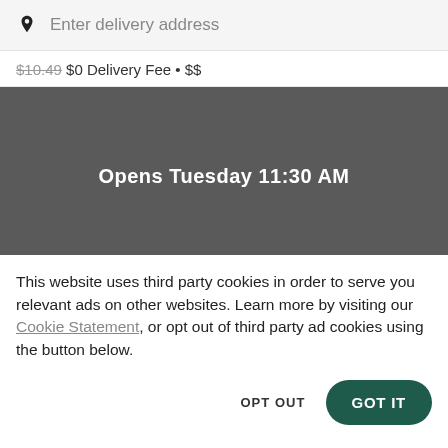Enter delivery address
$10.49 $0 Delivery Fee · $$
[Figure (other): Dark gray banner with text 'Opens Tuesday 11:30 AM' in white bold font]
This website uses third party cookies in order to serve you relevant ads on other websites. Learn more by visiting our Cookie Statement, or opt out of third party ad cookies using the button below.
OPT OUT
GOT IT